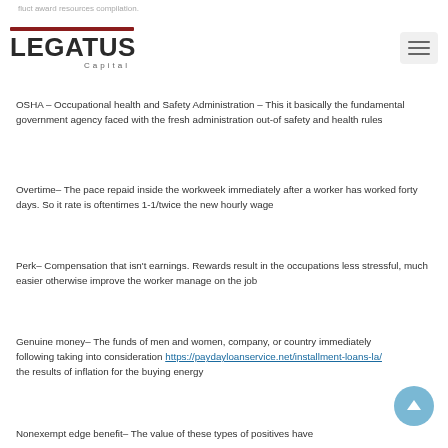Legatus Capital
fluct award resources compilation.
The shape of positives are tech include medical & dental loss and alternative anyone and continuing.
OSHA – Occupational health and Safety Administration – This it basically the fundamental government agency faced with the fresh administration out-of safety and health rules
Overtime– The pace repaid inside the workweek immediately after a worker has worked forty days. So it rate is oftentimes 1-1/twice the new hourly wage
Perk– Compensation that isn't earnings. Rewards result in the occupations less stressful, much easier otherwise improve the worker manage on the job
Genuine money– The funds of men and women, company, or country immediately following taking into consideration https://paydayloanservice.net/installment-loans-la/ the results of inflation for the buying energy
Nonexempt edge benefit– The value of these types of positives have